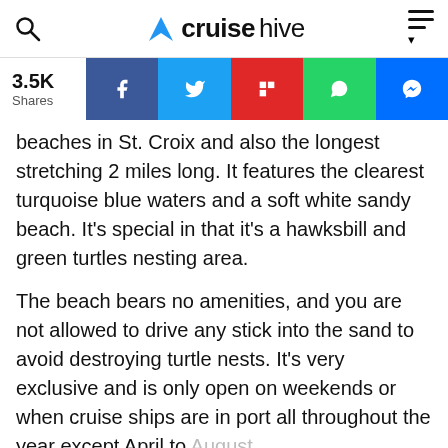cruisehive
3.5K Shares
beaches in St. Croix and also the longest stretching 2 miles long. It features the clearest turquoise blue waters and a soft white sandy beach. It's special in that it's a hawksbill and green turtles nesting area.
The beach bears no amenities, and you are not allowed to drive any stick into the sand to avoid destroying turtle nests. It's very exclusive and is only open on weekends or when cruise ships are in port all throughout the year except April to August.